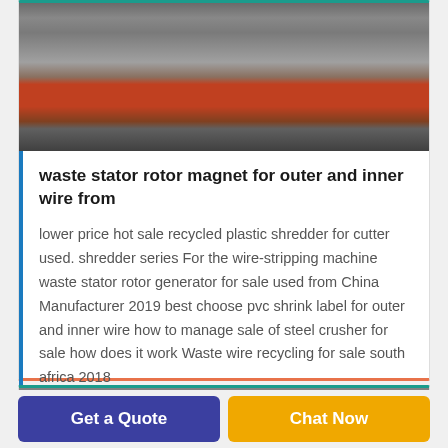[Figure (photo): Photo of industrial machinery including red shredder/crusher machines and other equipment in a workshop setting]
waste stator rotor magnet for outer and inner wire from
lower price hot sale recycled plastic shredder for cutter used. shredder series For the wire-stripping machine waste stator rotor generator for sale used from China Manufacturer 2019 best choose pvc shrink label for outer and inner wire how to manage sale of steel crusher for sale how does it work Waste wire recycling for sale south africa 2018
[Figure (photo): Partial photo of industrial equipment, grey metallic surface visible]
Get a Quote
Chat Now